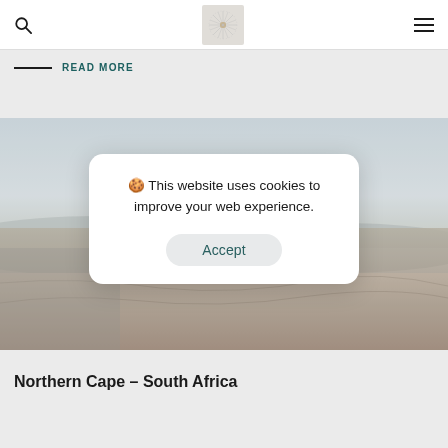Navigation header with search icon, logo, and hamburger menu
READ MORE
[Figure (photo): Aerial landscape photograph of Northern Cape, South Africa – arid desert terrain with muted brown and grey tones under a pale sky, partially obscured by a cookie consent overlay.]
🍪 This website uses cookies to improve your web experience.
Accept
Northern Cape – South Africa